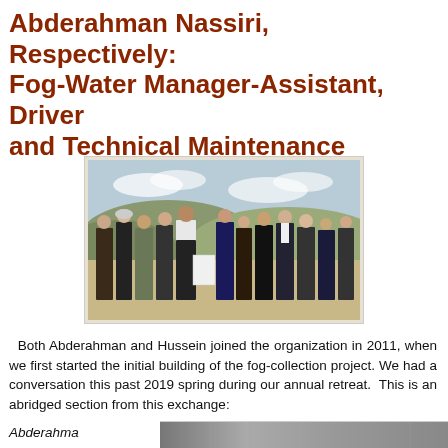Abderahman Nassiri, Respectively: Fog-Water Manager-Assistant, Driver and Technical Maintenance
[Figure (photo): Group photo of approximately 10-12 people standing in a line outdoors in an arid/semi-arid landscape with hills in the background and cloudy sky.]
Both Abderahman and Hussein joined the organization in 2011, when we first started the initial building of the fog-collection project. We had a conversation this past 2019 spring during our annual retreat.  This is an abridged section from this exchange:
Abderahma